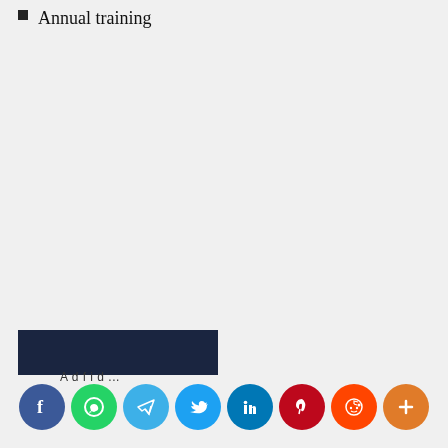Annual training
[Figure (other): Dark navy blue banner/button element with partial text below it]
[Figure (other): Row of social media share icons: Facebook (blue), WhatsApp (green), Telegram (light blue), Twitter (blue), LinkedIn (dark blue), Pinterest (red), Reddit (orange-red), More/Plus (orange)]